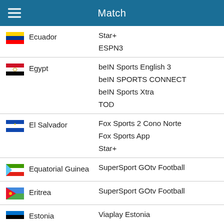Match
| Country | Channels |
| --- | --- |
| Ecuador | Star+
ESPN3 |
| Egypt | beIN Sports English 3
beIN SPORTS CONNECT
beIN Sports Xtra
TOD |
| El Salvador | Fox Sports 2 Cono Norte
Fox Sports App
Star+ |
| Equatorial Guinea | SuperSport GOtv Football |
| Eritrea | SuperSport GOtv Football |
| Estonia | Viaplay Estonia |
| Ethiopia | SuperSport GOtv Football |